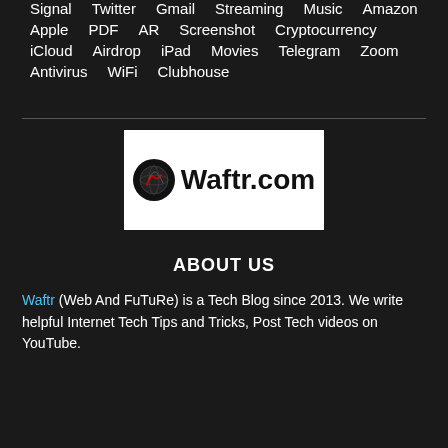Signal  Twitter  Gmail  Streaming  Music  Amazon
Apple  PDF  AR  Screenshot  Cryptocurrency
iCloud  Airdrop  iPad  Movies  Telegram  Zoom
Antivirus  WiFi  Clubhouse
[Figure (logo): Waftr.com logo with a black globe icon showing a stylized 'S' with a red curve on it, followed by bold text 'Waftr.com', on a white background]
ABOUT US
Waftr (Web And FuTuRe) is a Tech Blog since 2013. We write helpful Internet Tech Tips and Tricks, Post Tech videos on YouTube.